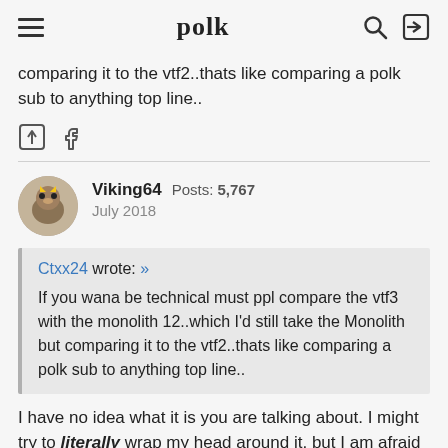polk
comparing it to the vtf2..thats like comparing a polk sub to anything top line..
Viking64  Posts: 5,767
July 2018
Ctxx24 wrote: »
If you wana be technical must ppl compare the vtf3 with the monolith 12..which I'd still take the Monolith but comparing it to the vtf2..thats like comparing a polk sub to anything top line..
I have no idea what it is you are talking about. I might try to literally wrap my head around it, but I am afraid that would damage my skull and that I would literally